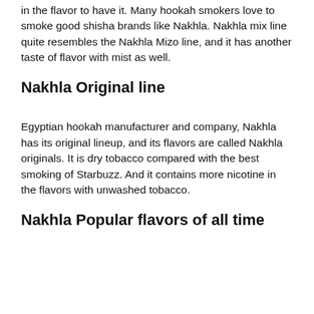in the flavor to have it. Many hookah smokers love to smoke good shisha brands like Nakhla. Nakhla mix line quite resembles the Nakhla Mizo line, and it has another taste of flavor with mist as well.
Nakhla Original line
Egyptian hookah manufacturer and company, Nakhla has its original lineup, and its flavors are called Nakhla originals. It is dry tobacco compared with the best smoking of Starbuzz. And it contains more nicotine in the flavors with unwashed tobacco.
Nakhla Popular flavors of all time